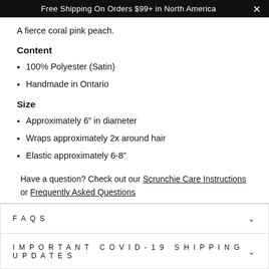Free Shipping On Orders $99+ in North America
A fierce coral pink peach.
Content
100% Polyester (Satin)
Handmade in Ontario
Size
Approximately 6” in diameter
Wraps approximately 2x around hair
Elastic approximately 6-8”
Have a question? Check out our Scrunchie Care Instructions or Frequently Asked Questions
FAQS
IMPORTANT COVID-19 SHIPPING UPDATES